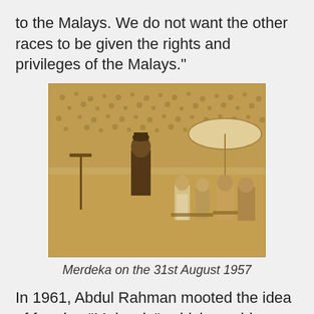to the Malays. We do not want the other races to be given the rights and privileges of the Malays."
[Figure (photo): Sepia-toned historical photograph of a ceremony at Merdeka on 31st August 1957, showing dignitaries in traditional dress on a stage with a large crowd in the background.]
Merdeka on the 31st August 1957
In 1961, Abdul Rahman mooted the idea of forming "Malaysia", which would consist of